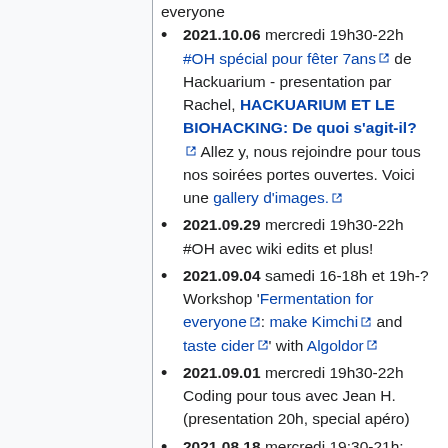everyone
2021.10.06 mercredi 19h30-22h #OH spécial pour fêter 7ans de Hackuarium - presentation par Rachel, HACKUARIUM ET LE BIOHACKING: De quoi s'agit-il? Allez y, nous rejoindre pour tous nos soirées portes ouvertes. Voici une gallery d'images.
2021.09.29 mercredi 19h30-22h #OH avec wiki edits et plus!
2021.09.04 samedi 16-18h et 19h-? Workshop 'Fermentation for everyone: make Kimchi and taste cider' with Algoldor
2021.09.01 mercredi 19h30-22h Coding pour tous avec Jean H. (presentation 20h, special apéro)
2021.08.18 mercredi 19:30-21h: Board meeting et #OH.